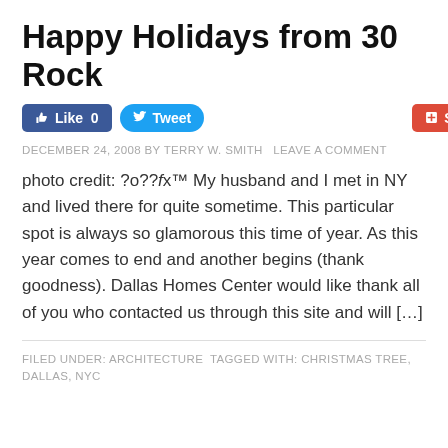Happy Holidays from 30 Rock
[Figure (other): Social sharing buttons: Like 0 (Facebook, blue), Tweet (Twitter, light blue rounded), Share (Google+/red)]
DECEMBER 24, 2008 BY TERRY W. SMITH LEAVE A COMMENT
photo credit: ?o??ƒx™ My husband and I met in NY and lived there for quite sometime. This particular spot is always so glamorous this time of year. As this year comes to end and another begins (thank goodness). Dallas Homes Center would like thank all of you who contacted us through this site and will […]
FILED UNDER: ARCHITECTURE TAGGED WITH: CHRISTMAS TREE, DALLAS, NYC